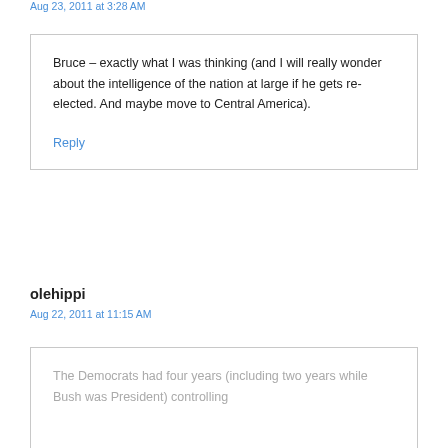Aug 23, 2011 at 3:28 AM
Bruce – exactly what I was thinking (and I will really wonder about the intelligence of the nation at large if he gets re-elected. And maybe move to Central America).
Reply
olehippi
Aug 22, 2011 at 11:15 AM
The Democrats had four years (including two years while Bush was President) controlling